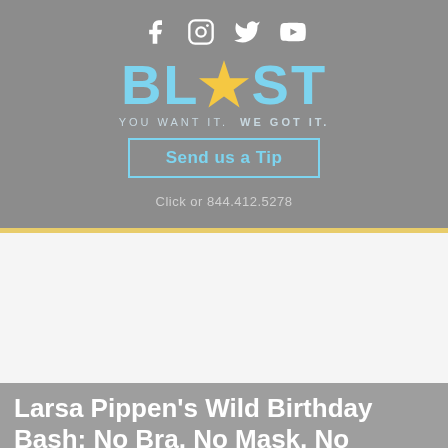[Figure (logo): BLAST logo with social media icons (Facebook, Instagram, Twitter, YouTube), tagline 'YOU WANT IT. WE GOT IT.', a Send us a Tip button, and phone number 844.412.5278 on grey background]
Larsa Pippen's Wild Birthday Bash: No Bra, No Mask, No Problem?